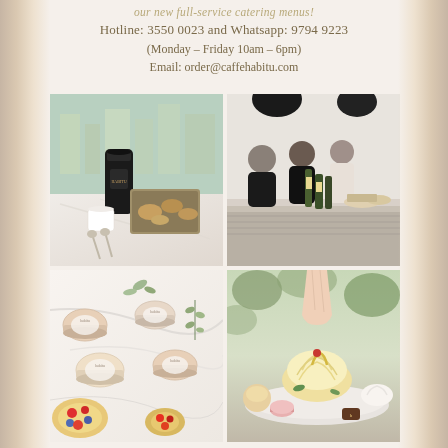our new full-service catering menus!
Hotline: 3550 0023 and Whatsapp: 9794 9223
(Monday – Friday 10am – 6pm)
Email: order@caffehabitu.com
[Figure (photo): Coffee thermos and tray of pastries on a marble table with city view in background]
[Figure (photo): Catering buffet setup with people serving food, wine bottles on counter, pendant lights above]
[Figure (photo): Assorted individual dessert cups and small tarts with decorative labels on a marble surface]
[Figure (photo): Hand reaching for an elaborate cream-topped pastry/tart on a plate with other desserts]